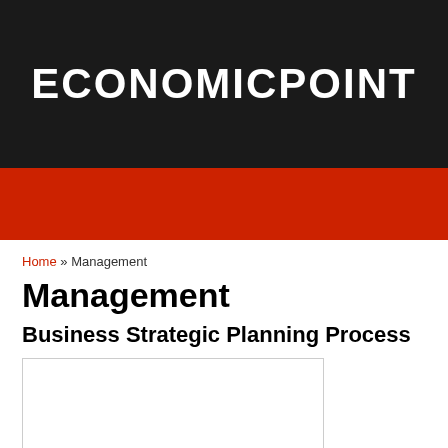ECONOMICPOINT
Home » Management
Management
Business Strategic Planning Process
[Figure (other): Empty white image placeholder with light gray border]